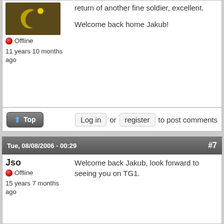[Figure (illustration): User avatar with crescent moon symbol on dark olive/brown background]
Offline
11 years 10 months ago
return of another fine soldier, excellent.

Welcome back home Jakub!
Top
Log in or register to post comments
Tue, 08/08/2006 - 00:29   #7
Jso
Offline
15 years 7 months ago
Welcome back Jakub, look forward to seeing you on TG1.